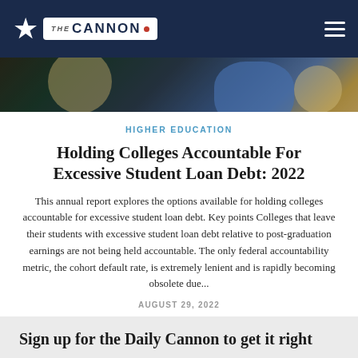The Daily Cannon
[Figure (photo): Hero banner image showing a close-up of a graduation cap and gown in blue, blurred background]
HIGHER EDUCATION
Holding Colleges Accountable For Excessive Student Loan Debt: 2022
This annual report explores the options available for holding colleges accountable for excessive student loan debt. Key points Colleges that leave their students with excessive student loan debt relative to post-graduation earnings are not being held accountable. The only federal accountability metric, the cohort default rate, is extremely lenient and is rapidly becoming obsolete due...
AUGUST 29, 2022
Sign up for the Daily Cannon to get it right